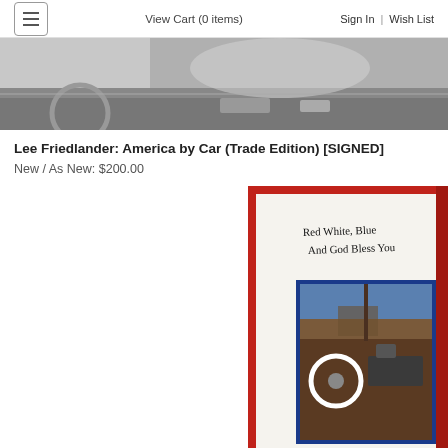View Cart (0 items)   Sign In | Wish List
[Figure (photo): Partial view of a car interior dashboard, black and white photograph, cropped at top]
Lee Friedlander: America by Car (Trade Edition) [SIGNED]
New / As New: $200.00
[Figure (photo): Book cover of Lee Friedlander's America by Car with red and blue border, handwritten text 'Red White Blue And God Bless You', and a color photograph of a vintage car interior with steering wheel and dashboard, landscape visible through windshield]